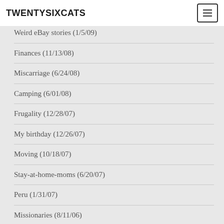TWENTYSIXCATS
Weird eBay stories (1/5/09)
Finances (11/13/08)
Miscarriage (6/24/08)
Camping (6/01/08)
Frugality (12/28/07)
My birthday (12/26/07)
Moving (10/18/07)
Stay-at-home-moms (6/20/07)
Peru (1/31/07)
Missionaries (8/11/06)
4th of July adventures (7/5/06)